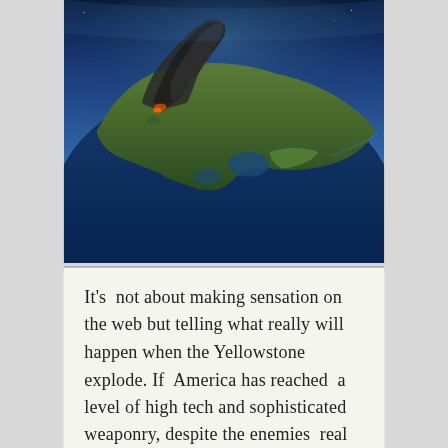[Figure (photo): Aerial/satellite view of North America from space showing landmass, coastlines, and a large dark smoke plume rising from the continent, with blue ocean surrounding, dramatic lighting from above.]
It's not about making sensation on the web but telling what really will happen when the Yellowstone explode. If America has reached a level of high tech and sophisticated weaponry, despite the enemies real or imaginary it likes to talk about, there's something americans kept quiet about; throwing all information related to the power of destruction mother nature is about to inflict them, as fiddlestick, or internet prank, yet the true is rather chilling